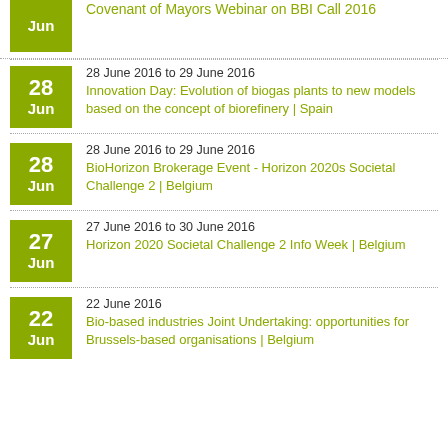Jun | Covenant of Mayors Webinar on BBI Call 2016
28 Jun | 28 June 2016 to 29 June 2016 | Innovation Day: Evolution of biogas plants to new models based on the concept of biorefinery | Spain
28 Jun | 28 June 2016 to 29 June 2016 | BioHorizon Brokerage Event - Horizon 2020s Societal Challenge 2 | Belgium
27 Jun | 27 June 2016 to 30 June 2016 | Horizon 2020 Societal Challenge 2 Info Week | Belgium
22 Jun | 22 June 2016 | Bio-based industries Joint Undertaking: opportunities for Brussels-based organisations | Belgium